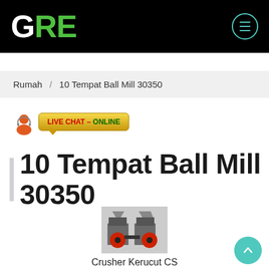GRE
Rumah / 10 Tempat Ball Mill 30350
[Figure (illustration): Live Chat - Online badge with person icon and speech bubble]
10 Tempat Ball Mill 30350
[Figure (photo): Crusher Kerucut CS industrial machine photo]
Crusher Kerucut CS